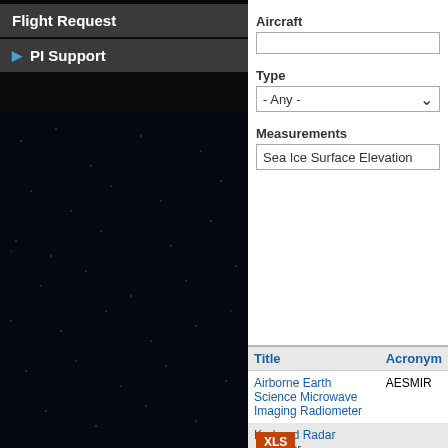Flight Request
▶ PI Support
Aircraft
Type
- Any -
Measurements
Sea Ice Surface Elevation
| Title | Acronym |
| --- | --- |
| Airborne Earth Science Microwave Imaging Radiometer | AESMIR |
| Ku-band Radar Altimeter |  |
| Polarimetric Scanning Radiometer - C/X Band | PSR/CX |
| Slope Imaging Multi-polarization Photon-counting Lidar | SIMPL |
XLS